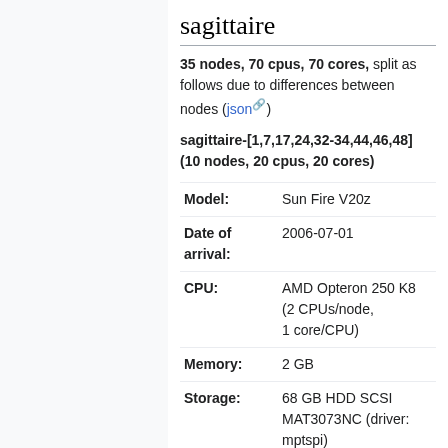sagittaire
35 nodes, 70 cpus, 70 cores, split as follows due to differences between nodes (json)
sagittaire-[1,7,17,24,32-34,44,46,48] (10 nodes, 20 cpus, 20 cores)
| Field | Value |
| --- | --- |
| Model: | Sun Fire V20z |
| Date of arrival: | 2006-07-01 |
| CPU: | AMD Opteron 250 K8 (2 CPUs/node, 1 core/CPU) |
| Memory: | 2 GB |
| Storage: | 68 GB HDD SCSI MAT3073NC (driver: mptspi) |
| Network: | eth0/enp2s2f0, Ethernet (driver: tg3) |